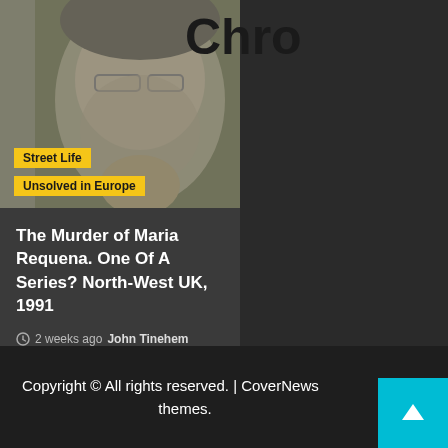[Figure (photo): Blurred grayscale photo of a woman's face — appears to be a screenshot or security camera image. Partially visible. Two yellow tags overlay the lower portion: 'Street Life' and 'Unsolved in Europe'. A partial bold title 'Chr...' is visible at the top right of the image.]
The Murder of Maria Requena. One Of A Series? North-West UK, 1991
2 weeks ago  John Tinehem
Copyright © All rights reserved. | CoverNews themes.